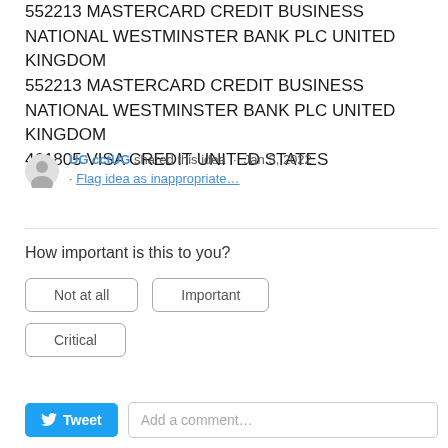552213 MASTERCARD CREDIT BUSINESS NATIONAL WESTMINSTER BANK PLC UNITED KINGDOM
552213 MASTERCARD CREDIT BUSINESS NATIONAL WESTMINSTER BANK PLC UNITED KINGDOM
461805 VISA CREDIT UNITED STATES
UG cctUG shared this idea · Jan 3, 2022 · Flag idea as inappropriate…
How important is this to you?
Not at all
Important
Critical
Tweet  Add a comment…